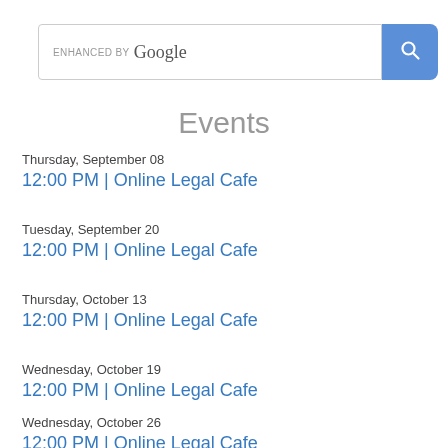[Figure (screenshot): Google enhanced search bar with search button]
Events
Thursday, September 08
12:00 PM | Online Legal Cafe
Tuesday, September 20
12:00 PM | Online Legal Cafe
Thursday, October 13
12:00 PM | Online Legal Cafe
Wednesday, October 19
12:00 PM | Online Legal Cafe
Wednesday, October 26
12:00 PM | Online Legal Cafe